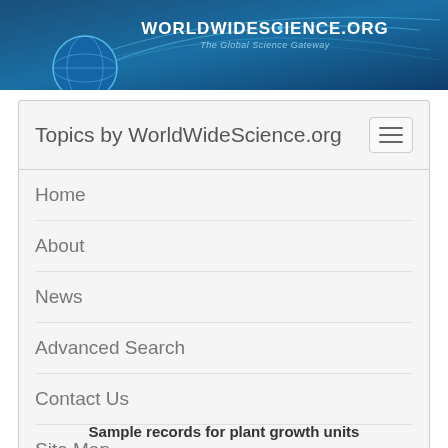[Figure (logo): WorldWideScience.org banner with globe graphic and tagline 'The Global Science Gateway']
Topics by WorldWideScience.org
Home
About
News
Advanced Search
Contact Us
Site Map
Help
Sample records for plant growth units